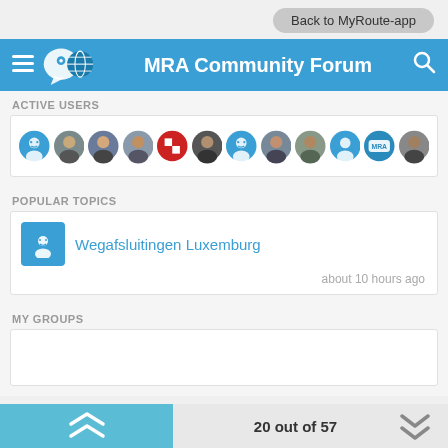Back to MyRoute-app
MRA Community Forum
ACTIVE USERS
[Figure (other): Row of circular user avatars showing active community users]
POPULAR TOPICS
Wegafsluitingen Luxemburg
about 10 hours ago
MY GROUPS
20 out of 57